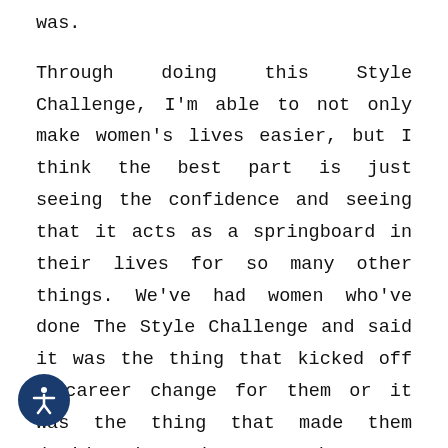was.

Through doing this Style Challenge, I'm able to not only make women's lives easier, but I think the best part is just seeing the confidence and seeing that it acts as a springboard in their lives for so many other things. We've had women who've done The Style Challenge and said it was the thing that kicked off a career change for them or it was the thing that made them decide that they wanted to go back and finish their